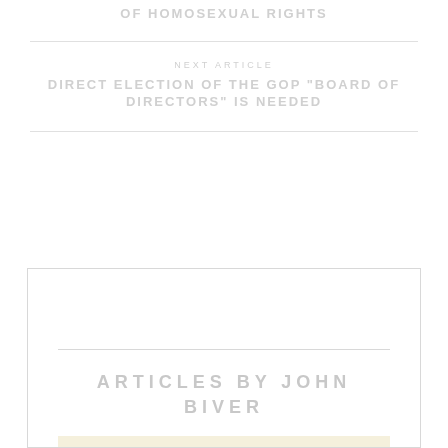OF HOMOSEXUAL RIGHTS
NEXT ARTICLE
DIRECT ELECTION OF THE GOP "BOARD OF DIRECTORS" IS NEEDED
ARTICLES BY JOHN BIVER
[Figure (logo): Dispatches logo banner with text and icon on a pale yellow background]